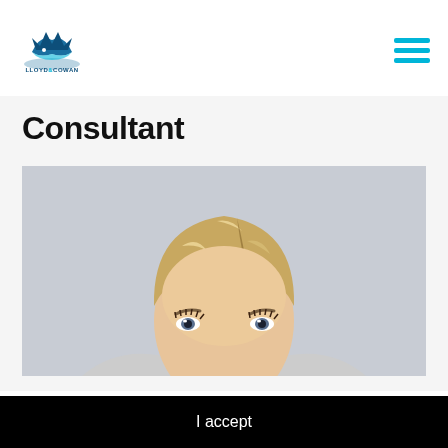[Figure (logo): Lloyd & Cowan logo with crown/fish icon and text LLOYD&COWAN in blue]
Consultant
[Figure (photo): Close-up portrait photo of a young blonde woman, head cropped at the top of the frame, light grey background]
This website uses cookies to improve your user experience More
I accept